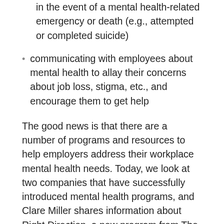workers, including providing support services in the event of a mental health-related emergency or death (e.g., attempted or completed suicide)
communicating with employees about mental health to allay their concerns about job loss, stigma, etc., and encourage them to get help
The good news is that there are a number of programs and resources to help employers address their workplace mental health needs. Today, we look at two companies that have successfully introduced mental health programs, and Clare Miller shares information about Right Direction, a new program from The Partnership for Workplace Mental Health and Employers Health.
CONTINUE READING →